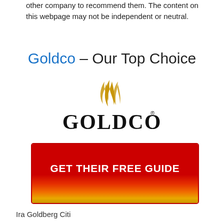other company to recommend them. The content on this webpage may not be independent or neutral.
Goldco – Our Top Choice
[Figure (logo): Goldco logo with golden flame above the word GOLDCO in large serif black text with a registered trademark symbol]
[Figure (other): Red button with gradient to orange/yellow at bottom, text: GET THEIR FREE GUIDE]
Ira Goldberg Citi
The Clear-cut Guide to Comprehending a Gold IRA